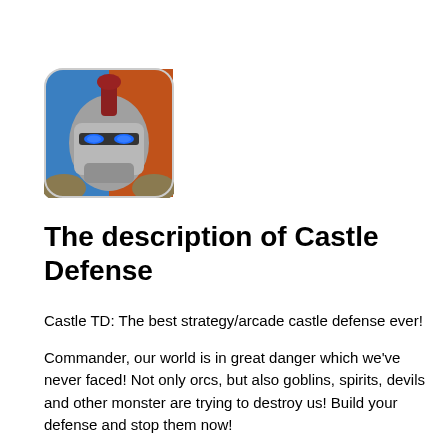[Figure (illustration): Castle Defense app icon showing an armored knight helmet split between blue and orange backgrounds, with glowing blue eyes]
The description of Castle Defense
Castle TD: The best strategy/arcade castle defense ever!
Commander, our world is in great danger which we've never faced! Not only orcs, but also goblins, spirits, devils and other monster are trying to destroy us! Build your defense and stop them now!
Mighty Warriors:You can choose wizard, paladin or barbarian as your warrior and deploy them to the battlefield. With advanced